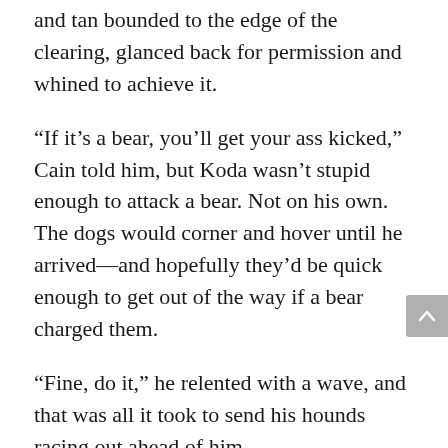and tan bounded to the edge of the clearing, glanced back for permission and whined to achieve it.
“If it’s a bear, you’ll get your ass kicked,” Cain told him, but Koda wasn’t stupid enough to attack a bear. Not on his own. The dogs would corner and hover until he arrived—and hopefully they’d be quick enough to get out of the way if a bear charged them.
“Fine, do it,” he relented with a wave, and that was all it took to send his hounds racing out ahead of him.
Taking a flashlight from the shed, Cain jogged behind, using the noise they made as a guide.